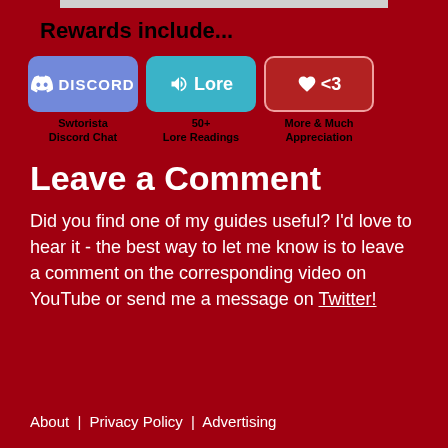Rewards include...
[Figure (infographic): Three reward badges: Discord badge showing Swtorista Discord Chat, Lore badge showing 50+ Lore Readings, and Heart <3 badge showing More & Much Appreciation]
Leave a Comment
Did you find one of my guides useful? I'd love to hear it - the best way to let me know is to leave a comment on the corresponding video on YouTube or send me a message on Twitter!
About | Privacy Policy | Advertising